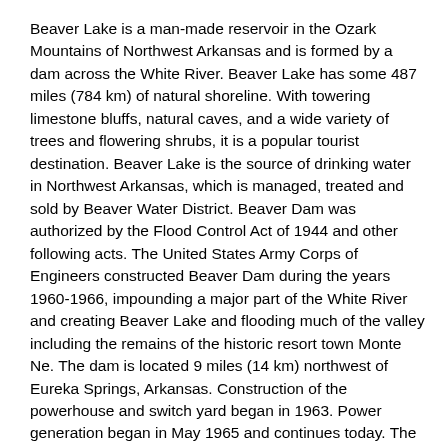Beaver Lake is a man-made reservoir in the Ozark Mountains of Northwest Arkansas and is formed by a dam across the White River. Beaver Lake has some 487 miles (784 km) of natural shoreline. With towering limestone bluffs, natural caves, and a wide variety of trees and flowering shrubs, it is a popular tourist destination. Beaver Lake is the source of drinking water in Northwest Arkansas, which is managed, treated and sold by Beaver Water District. Beaver Dam was authorized by the Flood Control Act of 1944 and other following acts. The United States Army Corps of Engineers constructed Beaver Dam during the years 1960-1966, impounding a major part of the White River and creating Beaver Lake and flooding much of the valley including the remains of the historic resort town Monte Ne. The dam is located 9 miles (14 km) northwest of Eureka Springs, Arkansas. Construction of the powerhouse and switch yard began in 1963. Power generation began in May 1965 and continues today. The initial cost of the project was $60 million. The lake is approximately 50 miles (80 km) in length and covers approximately 31,700 acres (128 km2), with about 483 miles (777 km) of shoreline and an elevation of 1,120 feet (341 m).[1] This is also the first dam in the tail water chain to provide cold water fishery along the White River. The majority of Beaver Lake is located in Benton County, Arkansas. The